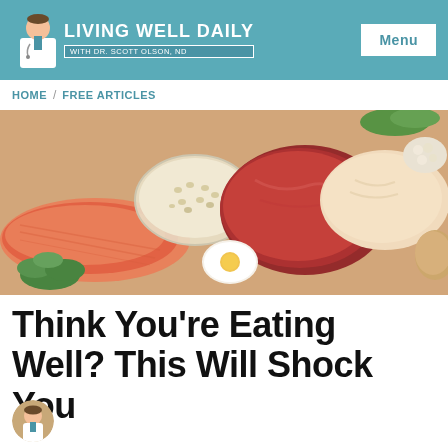LIVING WELL DAILY with Dr. Scott Olson, ND | Menu
HOME / FREE ARTICLES
[Figure (photo): Overhead photo of various protein-rich foods including salmon, raw red meat, chicken breast, a hard-boiled egg, quinoa or grains in a glass bowl, beans, and fresh herbs on a light background.]
Think You're Eating Well? This Will Shock You